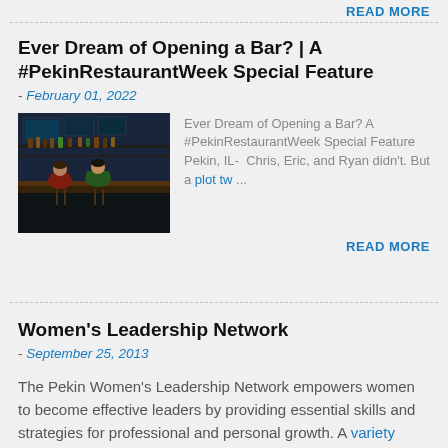READ MORE
Ever Dream of Opening a Bar? | A #PekinRestaurantWeek Special Feature
- February 01, 2022
[Figure (photo): Bar interior with patrons seated at the bar]
Ever Dream of Opening a Bar? A #PekinRestaurantWeek Special Feature   Pekin, IL-  Chris, Eric, and Ryan didn't. But a plot tw...
READ MORE
Women's Leadership Network
- September 25, 2013
The Pekin Women's Leadership Network empowers women to become effective leaders by providing essential skills and strategies for professional and personal growth. A variety